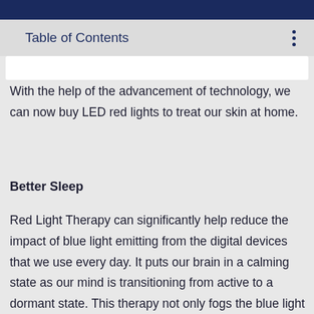Table of Contents
With the help of the advancement of technology, we can now buy LED red lights to treat our skin at home.
Better Sleep
Red Light Therapy can significantly help reduce the impact of blue light emitting from the digital devices that we use every day. It puts our brain in a calming state as our mind is transitioning from active to a dormant state. This therapy not only fogs the blue light but also tricks our brain into thinking it's time to sleep, thus significantly